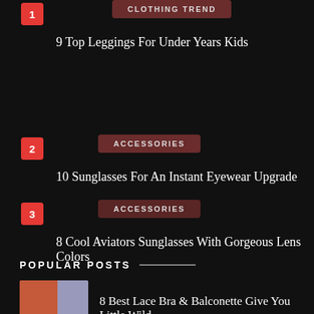1 — CLOTHING TREND — 9 Top Leggings For Under Years Kids
2 — ACCESSORIES — 10 Sunglasses For An Instant Eyewear Upgrade
3 — ACCESSORIES — 8 Cool Aviators Sunglasses With Gorgeous Lens Colors
POPULAR POSTS
8 Best Lace Bra & Balconette Give You Little Wild